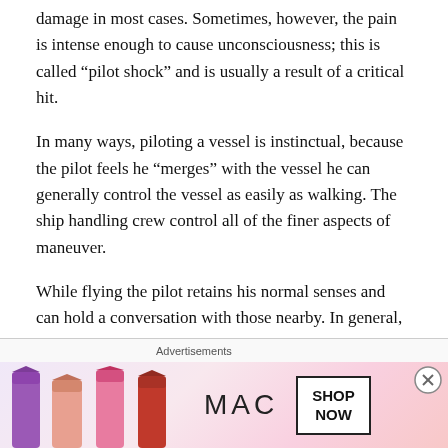damage in most cases. Sometimes, however, the pain is intense enough to cause unconsciousness; this is called “pilot shock” and is usually a result of a critical hit.
In many ways, piloting a vessel is instinctual, because the pilot feels he “merges” with the vessel he can generally control the vessel as easily as walking. The ship handling crew control all of the finer aspects of maneuver.
While flying the pilot retains his normal senses and can hold a conversation with those nearby. In general, piloting is no more difficult then walking so that anything a person can reasonably be expected to concentrate on while walking can be done while flying. This includes casting
Advertisements
[Figure (photo): MAC cosmetics advertisement showing lipsticks in purple, peach, and pink/red colors with the MAC logo and a 'SHOP NOW' button.]